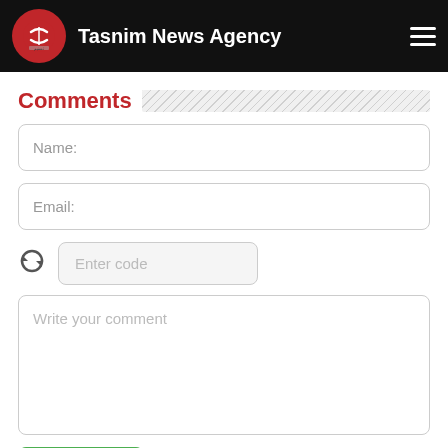Tasnim News Agency
Comments
Name:
Email:
Enter code
Write your comment
Submit
Most Visited in World